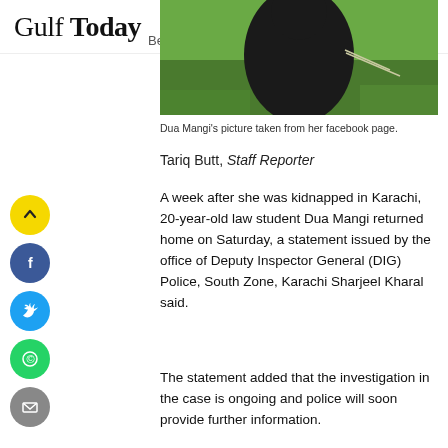Gulf Today Beta
[Figure (photo): Dua Mangi in dark clothing outdoors on green grass, photo from her Facebook page]
Dua Mangi's picture taken from her facebook page.
Tariq Butt, Staff Reporter
A week after she was kidnapped in Karachi, 20-year-old law student Dua Mangi returned home on Saturday, a statement issued by the office of Deputy Inspector General (DIG) Police, South Zone, Karachi Sharjeel Kharal said.
The statement added that the investigation in the case is ongoing and police will soon provide further information.